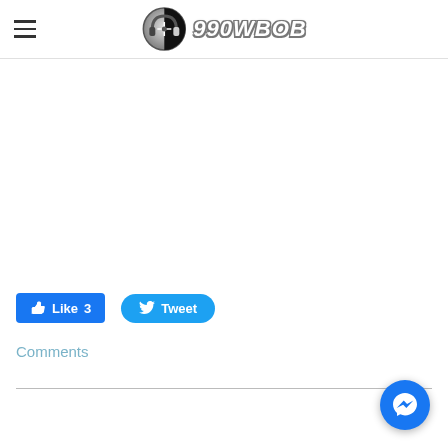990WBOB
[Figure (logo): 990WBOB radio station logo with headphone icon and stylized text '990WBOB']
Like 3
Tweet
Comments